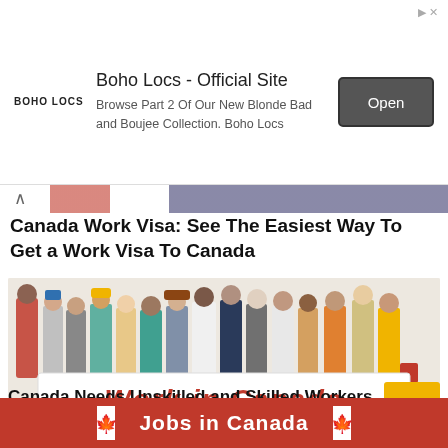[Figure (screenshot): Advertisement banner for Boho Locs - Official Site with logo, text, and Open button]
[Figure (photo): Diverse group of workers in various uniforms and work attire holding a large white banner reading WORK IN CANADA in red bold italic letters]
Canada Work Visa: See The Easiest Way To Get a Work Visa To Canada
Canada Needs Unskilled and Skilled Workers – Apply For Jobs in Canada
[Figure (infographic): Red banner with Canadian maple leaf flags on each side and white bold text reading Jobs in Canada]